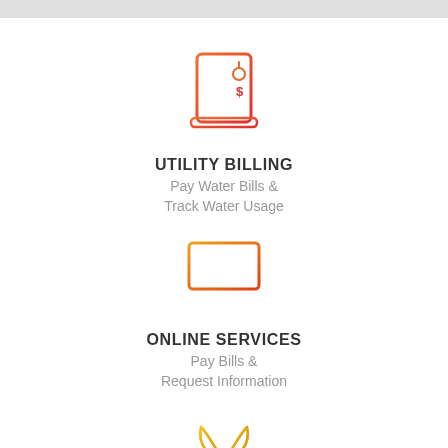[Figure (illustration): Orange gradient icon of a utility bill/invoice document with water drop and dollar sign symbols]
UTILITY BILLING
Pay Water Bills &
Track Water Usage
[Figure (illustration): Orange gradient icon of a desktop computer monitor]
ONLINE SERVICES
Pay Bills &
Request Information
[Figure (illustration): Yellow-orange gradient icon of a plant/leaves sprout]
PARKS & RECREATION